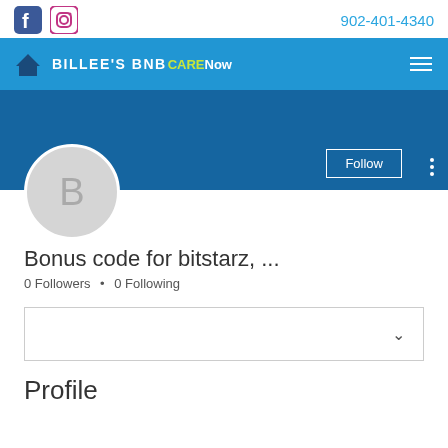[Figure (screenshot): Top bar with Facebook and Instagram social icons on the left, phone number 902-401-4340 on the right]
[Figure (screenshot): Navigation bar with home icon, BILLEE'S BNB brand name, CareNow text, and hamburger menu on blue background]
[Figure (screenshot): Profile banner in dark blue with Follow button and three-dot menu, and circular avatar with letter B]
Bonus code for bitstarz, ...
0 Followers • 0 Following
[Figure (screenshot): Dropdown box with chevron icon]
Profile